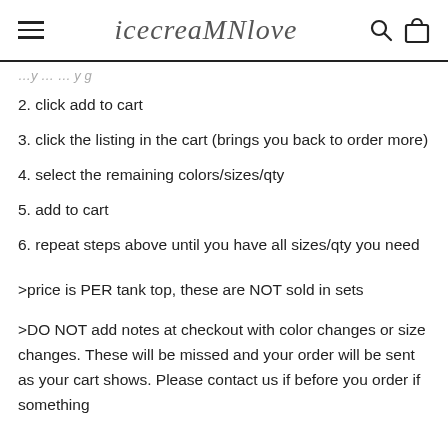icecreaMNlove
2. click add to cart
3. click the listing in the cart (brings you back to order more)
4. select the remaining colors/sizes/qty
5. add to cart
6. repeat steps above until you have all sizes/qty you need
>price is PER tank top, these are NOT sold in sets
>DO NOT add notes at checkout with color changes or size changes. These will be missed and your order will be sent as your cart shows. Please contact us if before you order if something